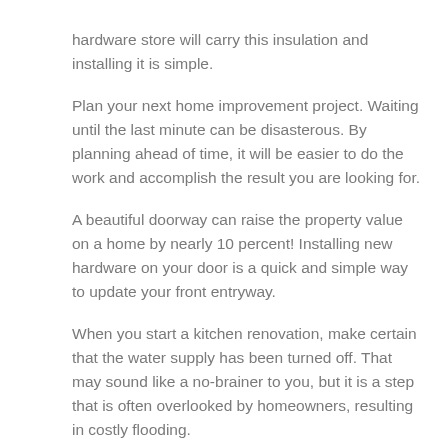hardware store will carry this insulation and installing it is simple.
Plan your next home improvement project. Waiting until the last minute can be disasterous. By planning ahead of time, it will be easier to do the work and accomplish the result you are looking for.
A beautiful doorway can raise the property value on a home by nearly 10 percent! Installing new hardware on your door is a quick and simple way to update your front entryway.
When you start a kitchen renovation, make certain that the water supply has been turned off. That may sound like a no-brainer to you, but it is a step that is often overlooked by homeowners, resulting in costly flooding.
Before doing anything further to the room, paint to avoid further complications. This will save you the trouble of